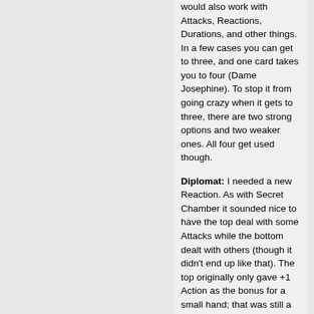would also work with Attacks, Reactions, Durations, and other things. In a few cases you can get to three, and one card takes you to four (Dame Josephine). To stop it from going crazy when it gets to three, there are two strong options and two weaker ones. All four get used though.
Diplomat: I needed a new Reaction. As with Secret Chamber it sounded nice to have the top deal with some Attacks while the bottom dealt with others (though it didn't end up like that). The top originally only gave +1 Action as the bonus for a small hand; that was still a nice bonus, but one day I thought of giving you +2 Actions and that seemed fun. Some games that's your Village, and you go for combos that will make it